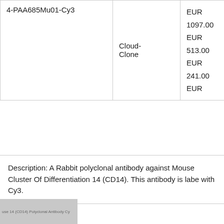| Product | Supplier | Price |
| --- | --- | --- |
| 4-PAA685Mu01-Cy3 | Cloud-Clone | EUR 1097.00
EUR 513.00
EUR 241.00
EUR |
Description: A Rabbit polyclonal antibody against Mouse Cluster Of Differentiation 14 (CD14). This antibody is labeled with Cy3.
[Figure (photo): Partial image of a product label showing 'Mouse 14 (CD14) Polyclonal Antibody Cy3']